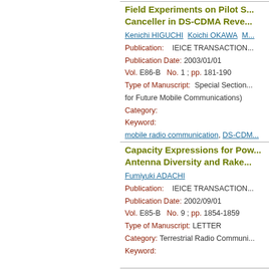Field Experiments on Pilot Signal-Assisted Adaptive Canceller in DS-CDMA Reverse Link
Kenichi HIGUCHI Koichi OKAWA M...
Publication: IEICE TRANSACTIONS
Publication Date: 2003/01/01
Vol. E86-B No. 1 ; pp. 181-190
Type of Manuscript: Special Section... for Future Mobile Communications)
Category:
Keyword:
mobile radio communication, DS-CDM...
Capacity Expressions for Power-Controlled DS-CDMA with Antenna Diversity and Rake
Fumiyuki ADACHI
Publication: IEICE TRANSACTIONS
Publication Date: 2002/09/01
Vol. E85-B No. 9 ; pp. 1854-1859
Type of Manuscript: LETTER
Category: Terrestrial Radio Communi...
Keyword: